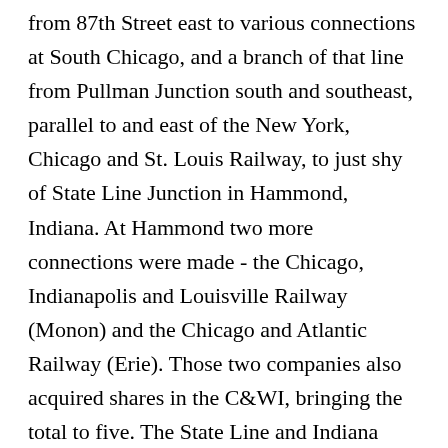from 87th Street east to various connections at South Chicago, and a branch of that line from Pullman Junction south and southeast, parallel to and east of the New York, Chicago and St. Louis Railway, to just shy of State Line Junction in Hammond, Indiana. At Hammond two more connections were made - the Chicago, Indianapolis and Louisville Railway (Monon) and the Chicago and Atlantic Railway (Erie). Those two companies also acquired shares in the C&WI, bringing the total to five. The State Line and Indiana City Railroad later gave the Wabash, St. Louis and Pacific Railway a second access point to the C&WI at Hammond, and a sixth railroad - the Atchison, Topeka and Santa Fe Railway - used Dearborn Station, but used its own line on the east side of the C&EI from Alton Junction to the station. The branches to Cragin and South Chicago (the latter east of Hammond Junction only)